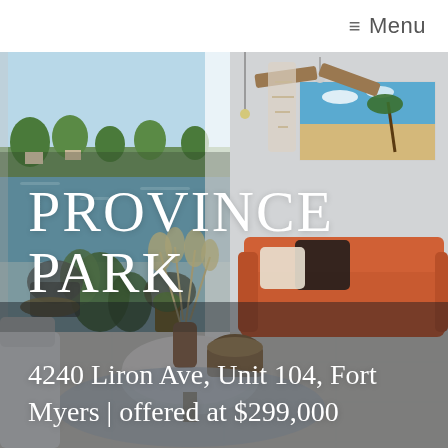≡ Menu
[Figure (photo): Interior photo of a modern living room with a terracotta/orange sofa, decorative pillows, a round white coffee table, pampas grass in a vase, a ceiling fan, sliding glass doors opening to a patio overlooking a lake, and a framed beach artwork on the wall.]
PROVINCE PARK
4240 Liron Ave, Unit 104, Fort Myers | offered at $299,000